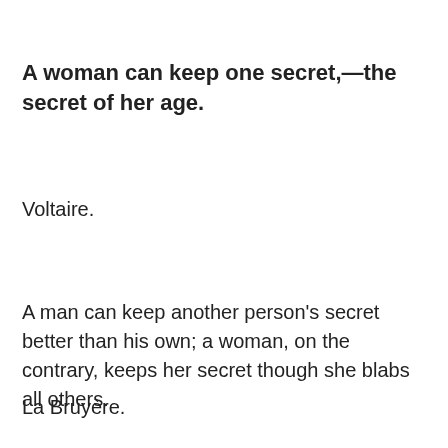A woman can keep one secret,—the secret of her age.
Voltaire.
A man can keep another person's secret better than his own; a woman, on the contrary, keeps her secret though she blabs all others.
La Bruyère.